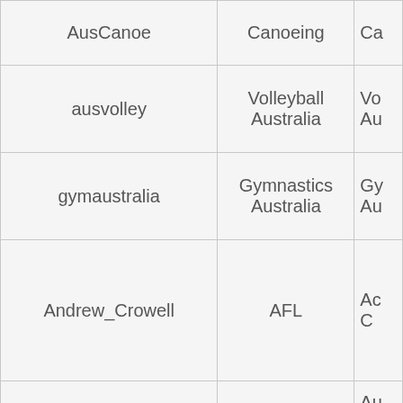| AusCanoe | Canoeing | Ca… |
| ausvolley | Volleyball Australia | Vo… Au… |
| gymaustralia | Gymnastics Australia | Gyr… Au… |
| Andrew_Crowell | AFL | Ac… C… |
| AusComGamesTeam | Australian Commonwealth Games Team | Au… Comn… Gam… |
| MattAbood | Swimming Australia | Ma… |
| AUFC_Official | A-League | Ac… U… |
|  | Australi… | … |